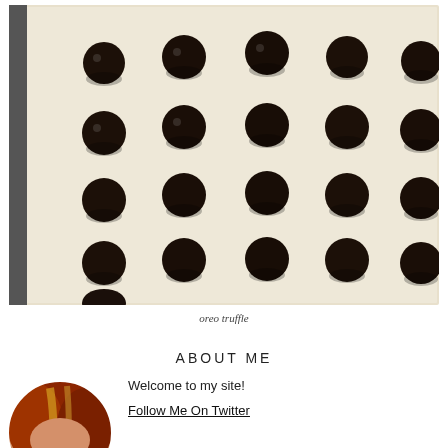[Figure (photo): A baking sheet lined with parchment paper holding rows of dark chocolate Oreo truffle balls arranged in a 5x5+ grid pattern, viewed from above.]
oreo truffle
ABOUT ME
[Figure (photo): Partial circular portrait photo of a woman with reddish-auburn and blonde highlighted hair, cropped to show head/upper portion.]
Welcome to my site!
Follow Me On Twitter